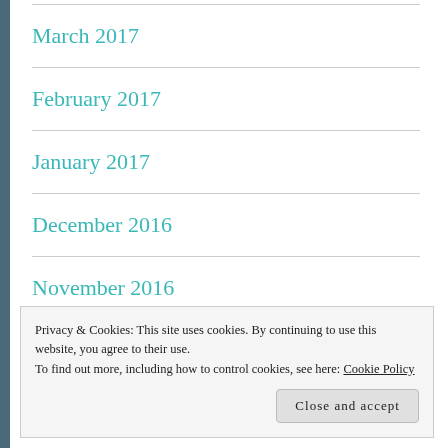March 2017
February 2017
January 2017
December 2016
November 2016
October 2016
Privacy & Cookies: This site uses cookies. By continuing to use this website, you agree to their use.
To find out more, including how to control cookies, see here: Cookie Policy